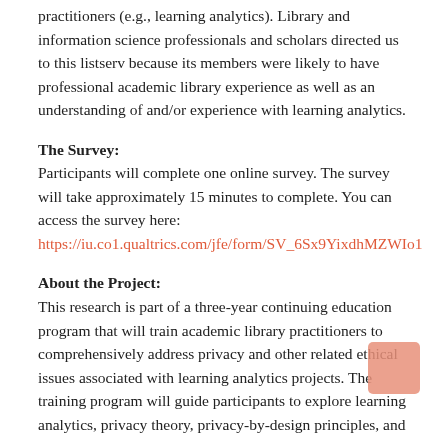practitioners (e.g., learning analytics). Library and information science professionals and scholars directed us to this listserv because its members were likely to have professional academic library experience as well as an understanding of and/or experience with learning analytics.
The Survey:
Participants will complete one online survey. The survey will take approximately 15 minutes to complete. You can access the survey here: https://iu.co1.qualtrics.com/jfe/form/SV_6Sx9YixdhMZWIo1
About the Project:
This research is part of a three-year continuing education program that will train academic library practitioners to comprehensively address privacy and other related ethical issues associated with learning analytics projects. The training program will guide participants to explore learning analytics, privacy theory, privacy-by-design principles, and